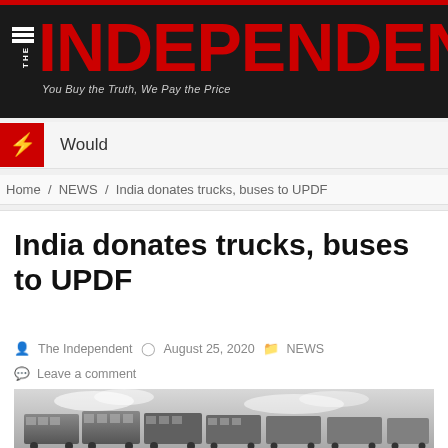THE INDEPENDENT — You Buy the Truth, We Pay the Price
Would
Home / NEWS / India donates trucks, buses to UPDF
India donates trucks, buses to UPDF
The Independent   August 25, 2020   NEWS
Leave a comment
[Figure (photo): Row of buses/trucks parked against a cloudy sky, shown in black and white]